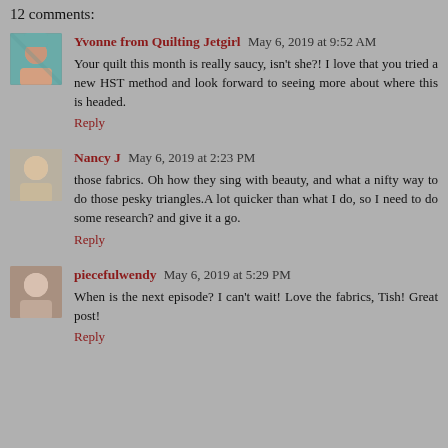12 comments:
Yvonne from Quilting Jetgirl May 6, 2019 at 9:52 AM
Your quilt this month is really saucy, isn't she?! I love that you tried a new HST method and look forward to seeing more about where this is headed.
Reply
Nancy J May 6, 2019 at 2:23 PM
those fabrics. Oh how they sing with beauty, and what a nifty way to do those pesky triangles.A lot quicker than what I do, so I need to do some research? and give it a go.
Reply
piecefulwendy May 6, 2019 at 5:29 PM
When is the next episode? I can't wait! Love the fabrics, Tish! Great post!
Reply